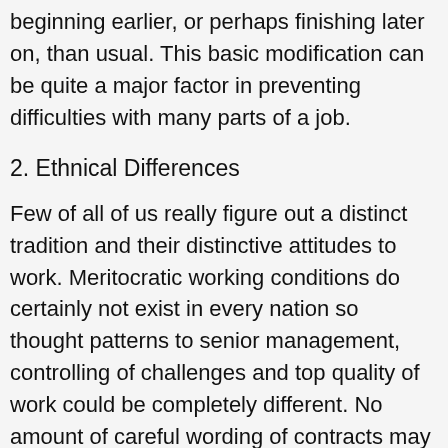beginning earlier, or perhaps finishing later on, than usual. This basic modification can be quite a major factor in preventing difficulties with many parts of a job.
2. Ethnical Differences
Few of all of us really figure out a distinct tradition and their distinctive attitudes to work. Meritocratic working conditions do certainly not exist in every nation so thought patterns to senior management, controlling of challenges and top quality of work could be completely different. No amount of careful wording of contracts may mitigate settled cultural beliefs. Recognize that this really is a